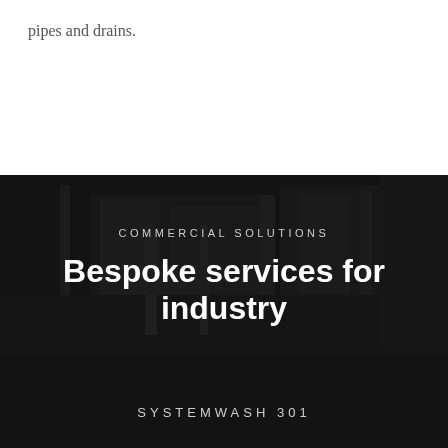pipes and drains.
[Figure (photo): Dark industrial machinery/vehicle washing equipment, used as background image with dark overlay]
COMMERCIAL SOLUTIONS
Bespoke services for industry
SYSTEMWASH 301